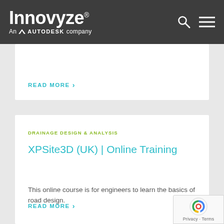Innovyze® An AUTODESK company
READ MORE
DRAINAGE DESIGN & ANALYSIS
XPSite3D (UK) | Online Training
This online course is for engineers to learn the basics of road design.
READ MORE